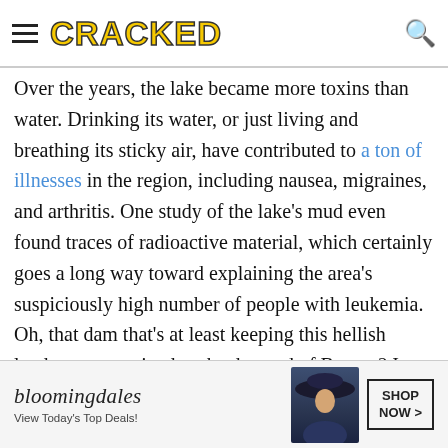CRACKED
Over the years, the lake became more toxins than water. Drinking its water, or just living and breathing its sticky air, have contributed to a ton of illnesses in the region, including nausea, migraines, and arthritis. One study of the lake's mud even found traces of radioactive material, which certainly goes a long way toward explaining the area's suspiciously high number of people with leukemia. Oh, that dam that's at least keeping this hellish landscape contained to the damned of Baotou? It was so shoddily built that even
[Figure (other): Bloomingdale's advertisement banner with woman in hat, text 'bloomingdales View Today's Top Deals!' and 'SHOP NOW >' button]